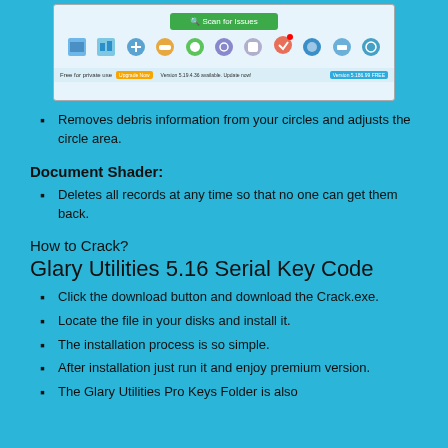[Figure (screenshot): Screenshot of Glary Utilities software interface showing a green Scan for Issues button and a row of colored icons for different utility modules, with a status bar at the bottom.]
Removes debris information from your circles and adjusts the circle area.
Document Shader:
Deletes all records at any time so that no one can get them back.
How to Crack?
Glary Utilities 5.16 Serial Key Code
Click the download button and download the Crack.exe.
Locate the file in your disks and install it.
The installation process is so simple.
After installation just run it and enjoy premium version.
The Glary Utilities Pro Keys Folder is also